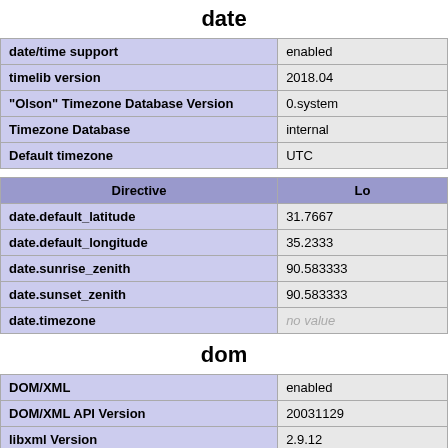date
| date/time support | enabled |
| timelib version | 2018.04 |
| "Olson" Timezone Database Version | 0.system |
| Timezone Database | internal |
| Default timezone | UTC |
| Directive | Lo |
| --- | --- |
| date.default_latitude | 31.7667 |
| date.default_longitude | 35.2333 |
| date.sunrise_zenith | 90.583333 |
| date.sunset_zenith | 90.583333 |
| date.timezone | no value |
dom
| DOM/XML | enabled |
| DOM/XML API Version | 20031129 |
| libxml Version | 2.9.12 |
| HTML Support | enabled |